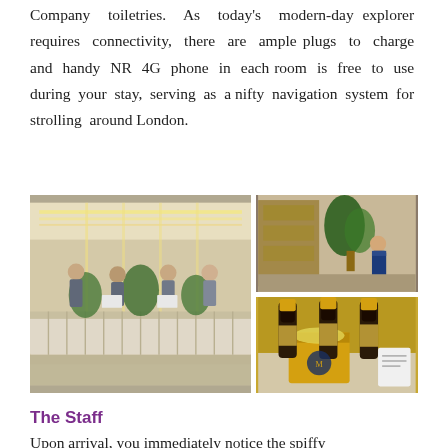Company toiletries. As today's modern-day explorer requires connectivity, there are ample plugs to charge and handy NR 4G phone in each room is free to use during your stay, serving as a nifty navigation system for strolling around London.
[Figure (photo): Three hotel lobby photos: left large photo shows hotel reception desk with four staff members behind a white counter with elegant lighting; top right shows a staff member in blue uniform standing in the lobby near greenery; bottom right shows three champagne bottles (Moët & Chandon) in a gold gift bag with a welcome card.]
The Staff
Upon arrival, you immediately notice the spiffy